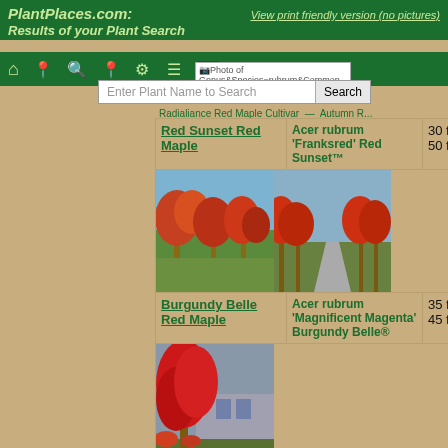PlantPlaces.com: Results of your Plant Search
View print friendly version (no pictures)
Enter Plant Name to Search
Radiance Red Maple Cultivar - Autumn R...
Red Sunset Red Maple
Acer rubrum 'Franksred' Red Sunset™
30 fe 50 fe
[Figure (photo): Two photos of red maple trees with autumn foliage]
Burgundy Belle Red Maple
Acer rubrum 'Magnificent Magenta' Burgundy Belle®
35 fe 45 fe
[Figure (photo): Photo of Burgundy Belle Red Maple with red autumn foliage]